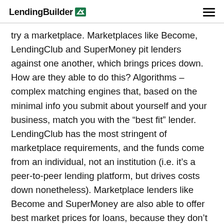LendingBuilder
try a marketplace. Marketplaces like Become, LendingClub and SuperMoney pit lenders against one another, which brings prices down. How are they able to do this? Algorithms – complex matching engines that, based on the minimal info you submit about yourself and your business, match you with the “best fit” lender. LendingClub has the most stringent of marketplace requirements, and the funds come from an individual, not an institution (i.e. it’s a peer-to-peer lending platform, but drives costs down nonetheless). Marketplace lenders like Become and SuperMoney are also able to offer best market prices for loans, because they don’t take early as big of a cut as a broker would. They pass those savings on to you.